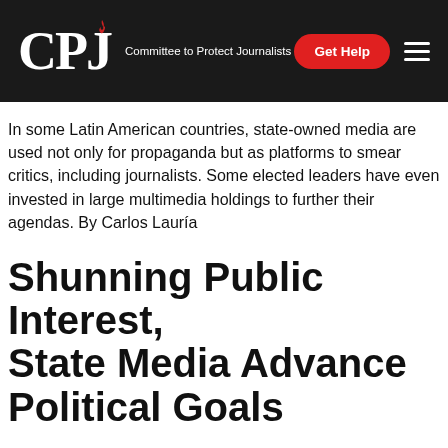CPJ — Committee to Protect Journalists | Get Help
In some Latin American countries, state-owned media are used not only for propaganda but as platforms to smear critics, including journalists. Some elected leaders have even invested in large multimedia holdings to further their agendas. By Carlos Lauría
Shunning Public Interest, State Media Advance Political Goals